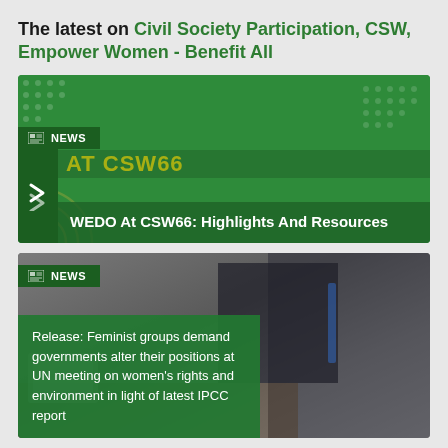The latest on Civil Society Participation, CSW, Empower Women - Benefit All
[Figure (screenshot): Green card with NEWS badge, partial yellow text 'AT CSW66', and title 'WEDO At CSW66: Highlights And Resources']
[Figure (photo): Photo of a person at a desk writing, with NEWS badge and green overlay box showing text: 'Release: Feminist groups demand governments alter their positions at UN meeting on women’s rights and environment in light of latest IPCC report']